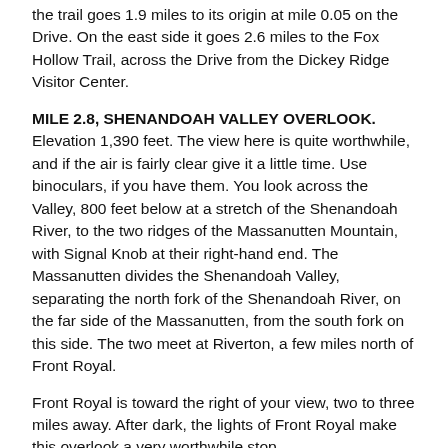the trail goes 1.9 miles to its origin at mile 0.05 on the Drive. On the east side it goes 2.6 miles to the Fox Hollow Trail, across the Drive from the Dickey Ridge Visitor Center.
MILE 2.8, SHENANDOAH VALLEY OVERLOOK. Elevation 1,390 feet. The view here is quite worthwhile, and if the air is fairly clear give it a little time. Use binoculars, if you have them. You look across the Valley, 800 feet below at a stretch of the Shenandoah River, to the two ridges of the Massanutten Mountain, with Signal Knob at their right-hand end. The Massanutten divides the Shenandoah Valley, separating the north fork of the Shenandoah River, on the far side of the Massanutten, from the south fork on this side. The two meet at Riverton, a few miles north of Front Royal.
Front Royal is toward the right of your view, two to three miles away. After dark, the lights of Front Royal make this overlook a very worthwhile stop.
MILE 4.6, DICKEY RIDGE VISITOR CENTER. Elevation 1,940 feet. Information, publications, film, exhibits, telephone, rest rooms, water: Hike HN-2 Fox Hollow